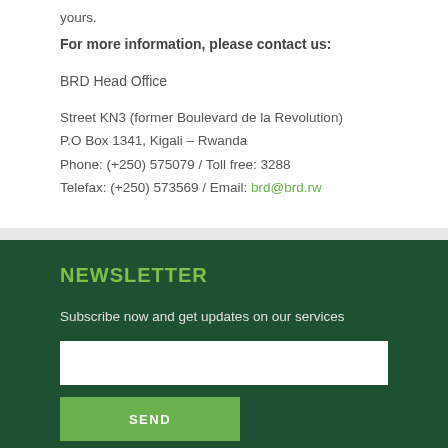yours.
For more information, please contact us:
BRD Head Office
Street KN3 (former Boulevard de la Revolution)
P.O Box 1341, Kigali – Rwanda
Phone: (+250) 575079 / Toll free: 3288
Telefax: (+250) 573569 / Email: brd@brd.rw
NEWSLETTER
Subscribe now and get updates on our services